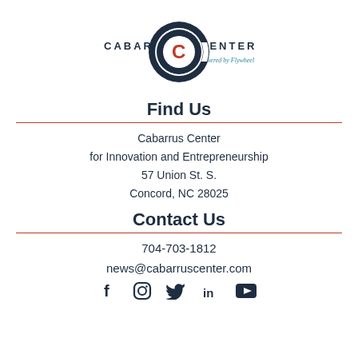[Figure (logo): Cabarrus Center powered by Flywheel logo — circular target icon with orange C in center, flanked by text CABARRUS and CENTER, with 'powered by Flywheel' beneath]
Find Us
Cabarrus Center
for Innovation and Entrepreneurship
57 Union St. S.
Concord, NC 28025
Contact Us
704-703-1812
news@cabarruscenter.com
[Figure (illustration): Social media icons row: Facebook, Instagram, Twitter, LinkedIn, YouTube]